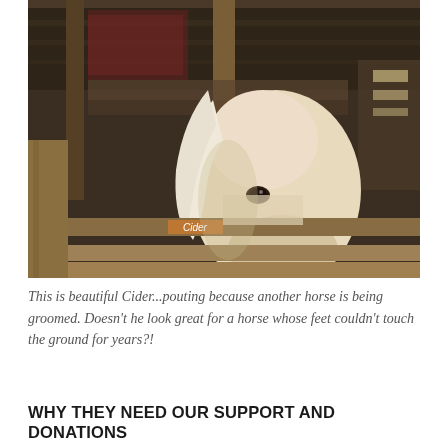[Figure (photo): A pale/white horse (Cider) looking over a wooden stall fence inside a barn. The barn interior is dark with wooden beams and stall boards visible. The word 'Cider' appears on a label on the stall.]
This is beautiful Cider...pouting because another horse is being groomed. Doesn't he look great for a horse whose feet couldn't touch the ground for years?!
WHY THEY NEED OUR SUPPORT AND DONATIONS